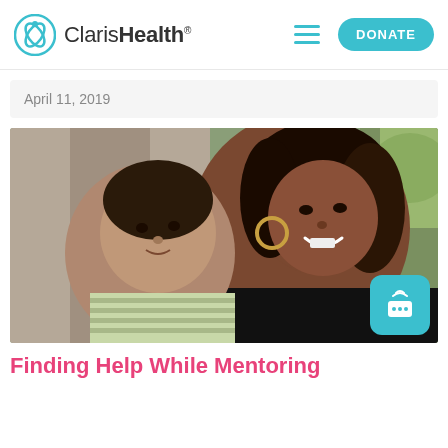Claris Health
April 11, 2019
[Figure (photo): A smiling woman with hoop earrings wearing a black top, holding a young toddler boy, both outdoors in front of a tree]
Finding Help While Mentoring